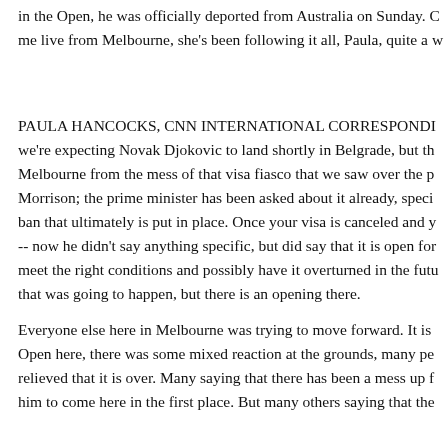in the Open, he was officially deported from Australia on Sunday. C me live from Melbourne, she's been following it all, Paula, quite a w
PAULA HANCOCKS, CNN INTERNATIONAL CORRESPONDE we're expecting Novak Djokovic to land shortly in Belgrade, but th Melbourne from the mess of that visa fiasco that we saw over the p Morrison; the prime minister has been asked about it already, speci ban that ultimately is put in place. Once your visa is canceled and y -- now he didn't say anything specific, but did say that it is open for meet the right conditions and possibly have it overturned in the futu that was going to happen, but there is an opening there.
Everyone else here in Melbourne was trying to move forward. It is Open here, there was some mixed reaction at the grounds, many pe relieved that it is over. Many saying that there has been a mess up f him to come here in the first place. But many others saying that the